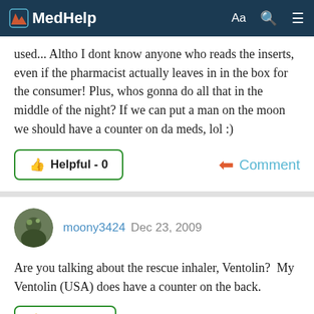MedHelp
used... Altho I dont know anyone who reads the inserts, even if the pharmacist actually leaves in in the box for the consumer! Plus, whos gonna do all that in the middle of the night? If we can put a man on the moon we should have a counter on da meds, lol :)
Helpful - 0
Comment
moony3424 Dec 23, 2009
Are you talking about the rescue inhaler, Ventolin?  My Ventolin (USA) does have a counter on the back.
Helpful - 0
Comment